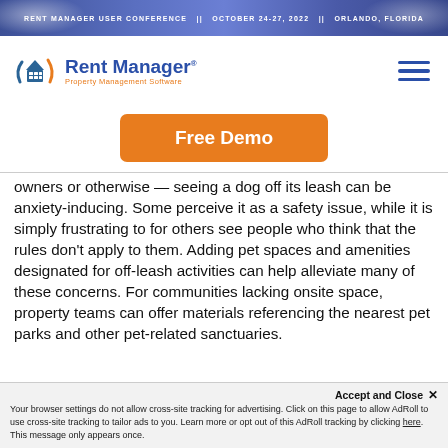RENT MANAGER USER CONFERENCE  ||  OCTOBER 24-27, 2022  ||  ORLANDO, FLORIDA
[Figure (logo): Rent Manager Property Management Software logo with house icon]
[Figure (other): Orange Free Demo button]
owners or otherwise — seeing a dog off its leash can be anxiety-inducing. Some perceive it as a safety issue, while it is simply frustrating to for others see people who think that the rules don't apply to them. Adding pet spaces and amenities designated for off-leash activities can help alleviate many of these concerns. For communities lacking onsite space, property teams can offer materials referencing the nearest pet parks and other pet-related sanctuaries.
Accept and Close ✕ Your browser settings do not allow cross-site tracking for advertising. Click on this page to allow AdRoll to use cross-site tracking to tailor ads to you. Learn more or opt out of this AdRoll tracking by clicking here. This message only appears once.